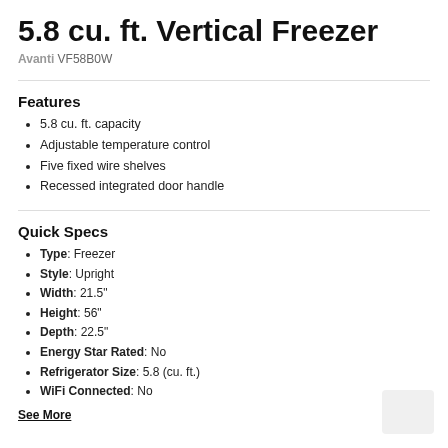5.8 cu. ft. Vertical Freezer
Avanti VF58B0W
Features
5.8 cu. ft. capacity
Adjustable temperature control
Five fixed wire shelves
Recessed integrated door handle
Quick Specs
Type: Freezer
Style: Upright
Width: 21.5"
Height: 56"
Depth: 22.5"
Energy Star Rated: No
Refrigerator Size: 5.8 (cu. ft.)
WiFi Connected: No
See More